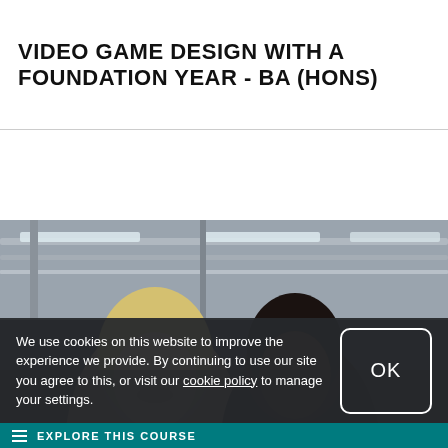VIDEO GAME DESIGN WITH A FOUNDATION YEAR - BA (HONS)
[Figure (photo): Two smiling female students in an industrial/studio space with exposed ceiling pipes and fluorescent lighting. One student has blonde hair, the other has dark braided hair.]
We use cookies on this website to improve the experience we provide. By continuing to use our site you agree to this, or visit our cookie policy to manage your settings.
OK
EXPLORE THIS COURSE